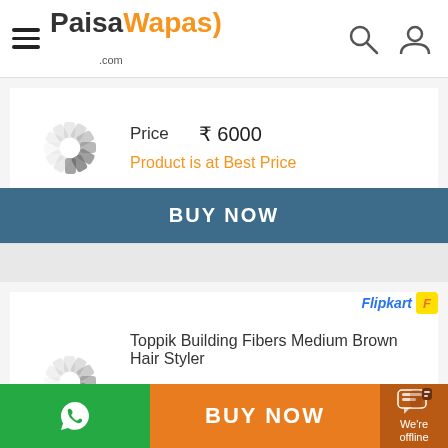PaisaWapas.com
Price ₹6000
Product is at Best Price
BUY NOW
Toppik Building Fibers Medium Brown Hair Styler
Price ₹4000
Product is at Best Price
BUY NOW
BUY NOW
We're offline